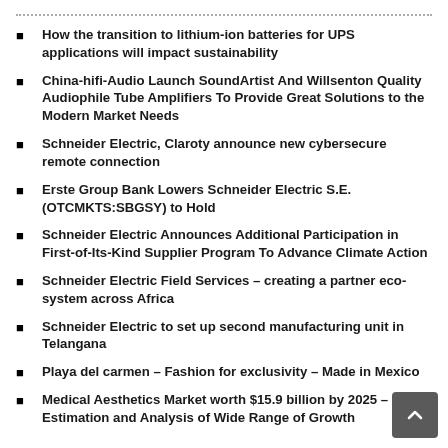How the transition to lithium-ion batteries for UPS applications will impact sustainability
China-hifi-Audio Launch SoundArtist And Willsenton Quality Audiophile Tube Amplifiers To Provide Great Solutions to the Modern Market Needs
Schneider Electric, Claroty announce new cybersecure remote connection
Erste Group Bank Lowers Schneider Electric S.E. (OTCMKTS:SBGSY) to Hold
Schneider Electric Announces Additional Participation in First-of-Its-Kind Supplier Program To Advance Climate Action
Schneider Electric Field Services – creating a partner eco-system across Africa
Schneider Electric to set up second manufacturing unit in Telangana
Playa del carmen – Fashion for exclusivity – Made in Mexico
Medical Aesthetics Market worth $15.9 billion by 2025 – Size Estimation and Analysis of Wide Range of Growth